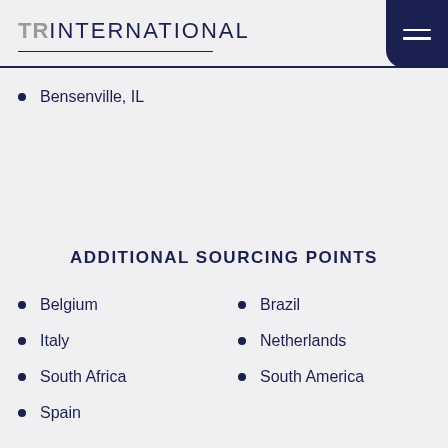TRINTERNATIONAL
Bensenville, IL
ADDITIONAL SOURCING POINTS
Belgium
Brazil
Italy
Netherlands
South Africa
South America
Spain